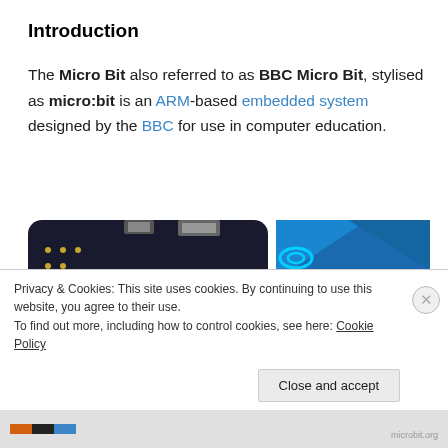Introduction
The Micro Bit also referred to as BBC Micro Bit, stylised as micro:bit is an ARM-based embedded system designed by the BBC for use in computer education.
[Figure (photo): Two views of the BBC micro:bit circuit board — back showing PCB components labeled USB, BLE ANTENNA, RESET, BATTERY, PROCESSOR, COMPASS, ACCELEROMETER, PINS, BBC logo; front showing LED matrix, two buttons, and blue design.]
Privacy & Cookies: This site uses cookies. By continuing to use this website, you agree to their use.
To find out more, including how to control cookies, see here: Cookie Policy
Close and accept